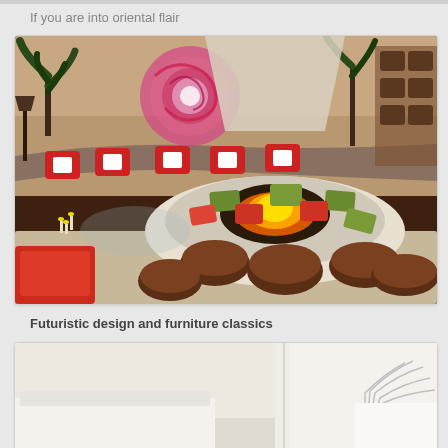If you are into oriental flair
[Figure (photo): Interior photo of an oriental-style living room with a round fireplace/fire pit table in the center, surrounded by brown leather poufs, red and green cushions on the table surround. A curved sofa with red and white pillows lines the back wall, with a large decorative swirl artwork and plant in the background. Floor lamps and candles add warm lighting.]
Futuristic design and furniture classics
[Figure (photo): Partial view of a modern/futuristic interior design with white and light-colored furniture, partially visible at the bottom of the page.]